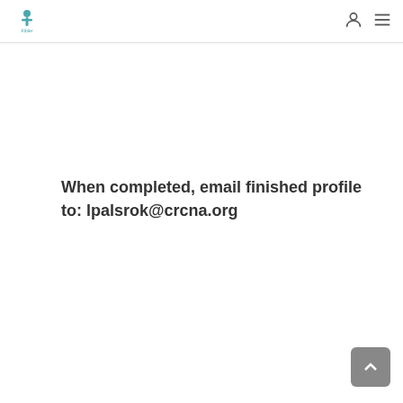Kibler logo with user and menu icons
When completed, email finished profile to: lpalsrok@crcna.org